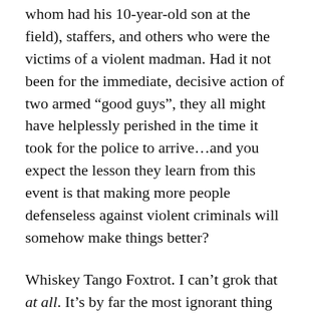whom had his 10-year-old son at the field), staffers, and others who were the victims of a violent madman. Had it not been for the immediate, decisive action of two armed “good guys”, they all might have helplessly perished in the time it took for the police to arrive…and you expect the lesson they learn from this event is that making more people defenseless against violent criminals will somehow make things better?
Whiskey Tango Foxtrot. I can’t grok that at all. It’s by far the most ignorant thing I’ve read in a long time.
The correct answer is for people to take some personal responsibility for their own lives and